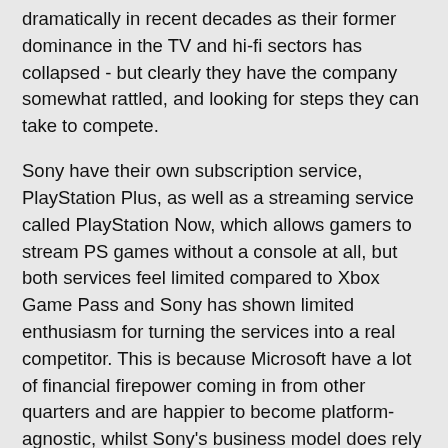dramatically in recent decades as their former dominance in the TV and hi-fi sectors has collapsed - but clearly they have the company somewhat rattled, and looking for steps they can take to compete.
Sony have their own subscription service, PlayStation Plus, as well as a streaming service called PlayStation Now, which allows gamers to stream PS games without a console at all, but both services feel limited compared to Xbox Game Pass and Sony has shown limited enthusiasm for turning the services into a real competitor. This is because Microsoft have a lot of financial firepower coming in from other quarters and are happier to become platform-agnostic, whilst Sony's business model does rely on their hardware becoming profitable, at least in the second half of its shelf life. Still, the competition of Game Pass will likely force Sony to develop these services further.
Sony have also taken the unprecedented step of making some of their former exclusives available on other platforms. Horizon Zero Dawn had a successful launch on PC in 2020, and Days Gone will launch on PC this year. The real test will